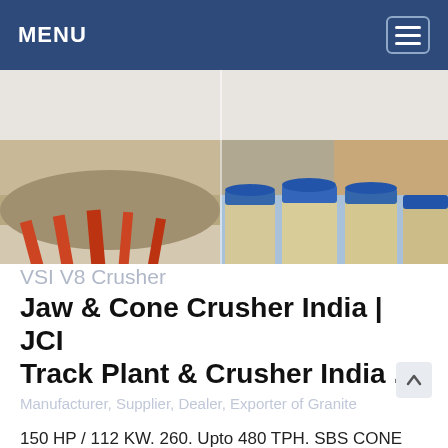MENU
[Figure (photo): Left: outdoor mining/crushing plant with orange conveyor structures and machinery on a rocky terrain. Right: industrial concrete batching plant with tall blue and beige cylindrical silos and blue steel framework.]
VSI V8 Crusher
Jaw & Cone Crusher India | JCI Track Plant & Crusher India ...
Manufacturer, Supplier, Dealer, Exporter of Granite
150 HP / 112 KW. 260. Upto 480 TPH. SBS CONE CRUSHER. For more than a hundred years, Cone Crushers have been the first choice for aggregate and mining professionals around the globe – setting the standard for design, productivity, reliability ...